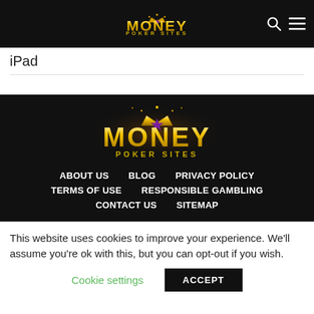MONEY POKER SITES
iPad
[Figure (logo): Money Poker Sites logo in footer on black background]
ABOUT US
BLOG
PRIVACY POLICY
TERMS OF USE
RESPONSIBLE GAMBLING
CONTACT US
SITEMAP
This website uses cookies to improve your experience. We'll assume you're ok with this, but you can opt-out if you wish.
Cookie settings   ACCEPT